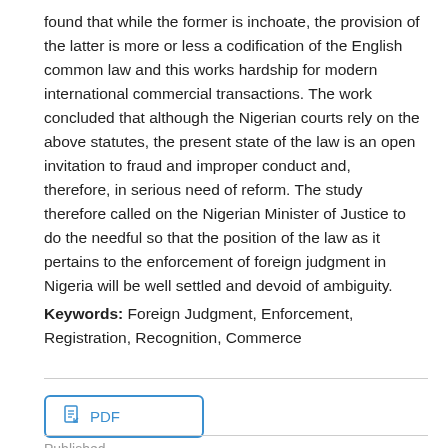found that while the former is inchoate, the provision of the latter is more or less a codification of the English common law and this works hardship for modern international commercial transactions. The work concluded that although the Nigerian courts rely on the above statutes, the present state of the law is an open invitation to fraud and improper conduct and, therefore, in serious need of reform. The study therefore called on the Nigerian Minister of Justice to do the needful so that the position of the law as it pertains to the enforcement of foreign judgment in Nigeria will be well settled and devoid of ambiguity.
Keywords: Foreign Judgment, Enforcement, Registration, Recognition, Commerce
Published